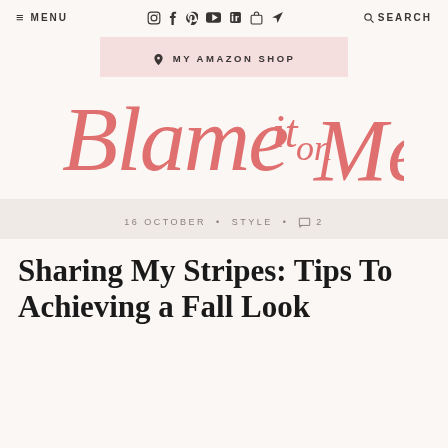≡ MENU  [social icons]  🔍 SEARCH
a MY AMAZON SHOP
[Figure (logo): Blame it on Mei cursive script logo in salmon/pink color]
16 OCTOBER • STYLE • 💬 2
Sharing My Stripes: Tips To Achieving a Fall Look